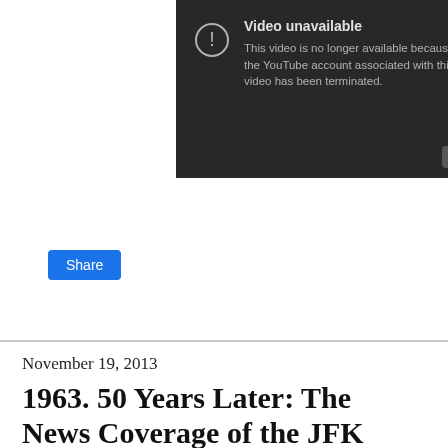[Figure (screenshot): YouTube video unavailable error screen with dark background. Text reads: 'Video unavailable / This video is no longer available because the YouTube account associated with this video has been terminated.' A YouTube play button icon is visible in the bottom right.]
Share
November 19, 2013
1963. 50 Years Later: The News Coverage of the JFK Assassination
The 50th Anniversary of the Kennedy